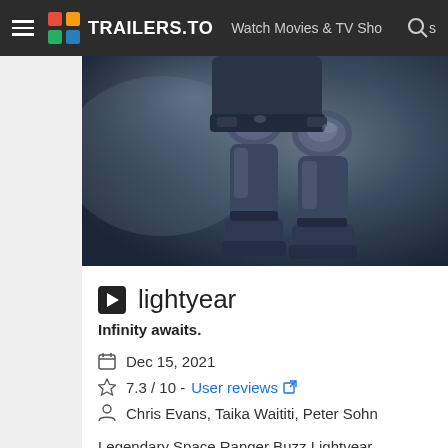TRAILERS.TO — Watch Movies & TV Shows
[Figure (screenshot): Hero image showing armored legs/boots of a space ranger suit in dark blue-gray tones, close-up view from knees down]
lightyear
Infinity awaits.
Dec 15, 2021
7.3 / 10 - User reviews
Chris Evans, Taika Waititi, Peter Sohn
Legendary Space Ranger Buzz Lightyear embarks on an intergalactic adventure alongside a group of ambitio...